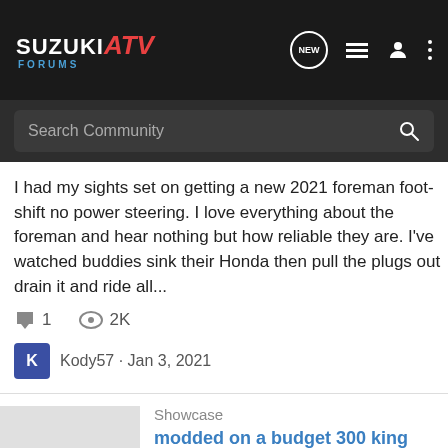SUZUKI ATV FORUMS
I had my sights set on getting a new 2021 foreman foot-shift no power steering. I love everything about the foreman and hear nothing but how reliable they are. I've watched buddies sink their Honda then pull the plugs out drain it and ride all...
1  2K
Kody57 · Jan 3, 2021
Showcase
modded on a budget 300 king quad
modded on the cheap 300 king quad
8  1K